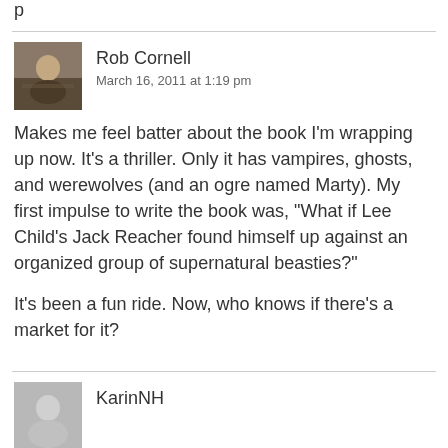p
Rob Cornell
March 16, 2011 at 1:19 pm
Makes me feel batter about the book I'm wrapping up now. It's a thriller. Only it has vampires, ghosts, and werewolves (and an ogre named Marty). My first impulse to write the book was, "What if Lee Child's Jack Reacher found himself up against an organized group of supernatural beasties?"

It's been a fun ride. Now, who knows if there's a market for it?
KarinNH